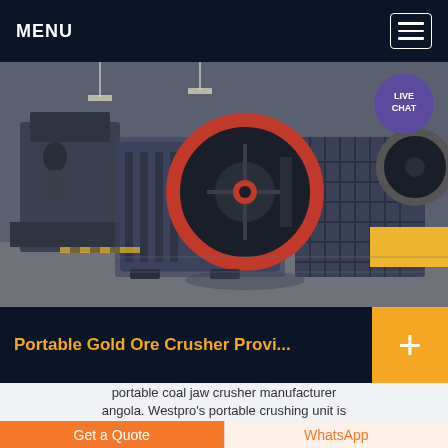MENU
[Figure (photo): Industrial jaw crusher machine photographed in a factory setting. Large grey metallic crushing equipment with a prominent red-rimmed flywheel, mounted on a factory floor. Additional crusher machinery visible in the background.]
Portable Gold Ore Crusher Provi...
portable coal jaw crusher manufacturer angola. Westpro's portable crushing unit is
Get a Quote
WhatsApp